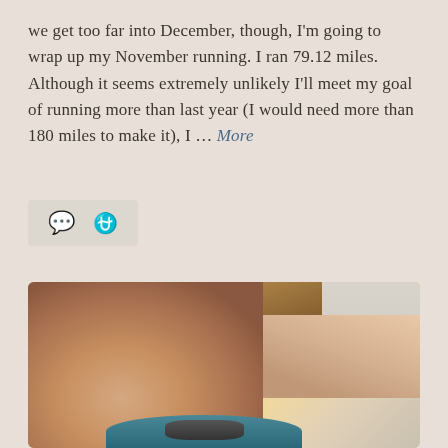we get too far into December, though, I'm going to wrap up my November running. I ran 79.12 miles. Although it seems extremely unlikely I'll meet my goal of running more than last year (I would need more than 180 miles to make it), I … More
[Figure (photo): Selfie photo of a blonde woman holding up her wrist showing a fitness watch/tracker, wearing a teal sleeve, taken indoors with a yellow wall and door visible in the background.]